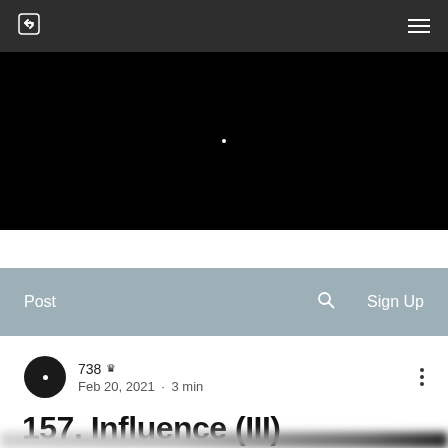Navigation bar with link icon and menu icon
[Figure (photo): Black hero banner with a small white dot in the center]
Post  [search icon]  Sign Up
738 👑  Feb 20, 2021 · 3 min
157. Influence (III)
[Figure (photo): Blurred grayscale image, bottom of page, partially visible]